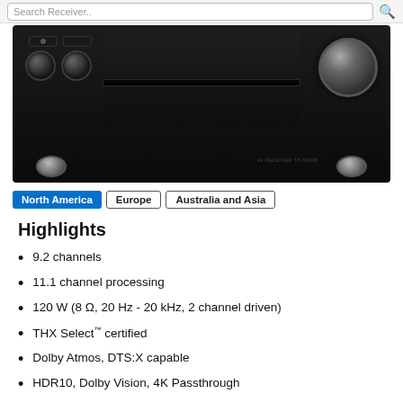Search Receiver..
[Figure (photo): AV receiver front panel, black finish with two small knobs on left, large volume knob on right, and silver feet at bottom]
North America | Europe | Australia and Asia
Highlights
9.2 channels
11.1 channel processing
120 W (8 Ω, 20 Hz - 20 kHz, 2 channel driven)
THX Select™ certified
Dolby Atmos, DTS:X capable
HDR10, Dolby Vision, 4K Passthrough